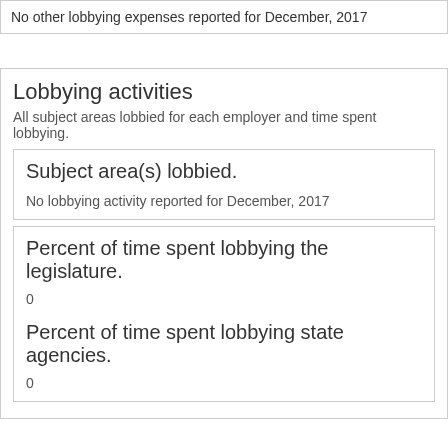No other lobbying expenses reported for December, 2017
Lobbying activities
All subject areas lobbied for each employer and time spent lobbying.
Subject area(s) lobbied.
No lobbying activity reported for December, 2017
Percent of time spent lobbying the legislature.
0
Percent of time spent lobbying state agencies.
0